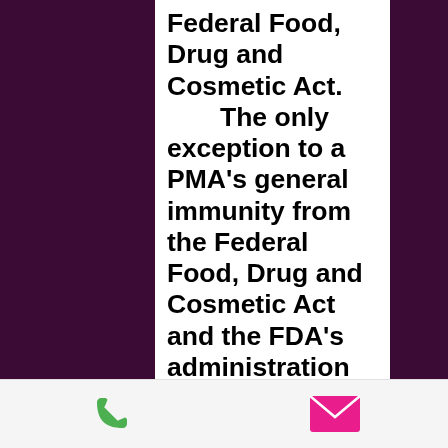Federal Food, Drug and Cosmetic Act.
	The only exception to a PMA's general immunity from the Federal Food, Drug and Cosmetic Act and the FDA's administration of the law is that neither a PMA nor any PMA member may commit a common law crime or commit any act, make an omission, publish or utter a statement which creates a “clear and present danger that they will bring about substantial evils that Congress has a right to prevent.”
[Figure (infographic): Bottom toolbar with a green phone icon on the left and a pink/magenta email envelope icon on the right]